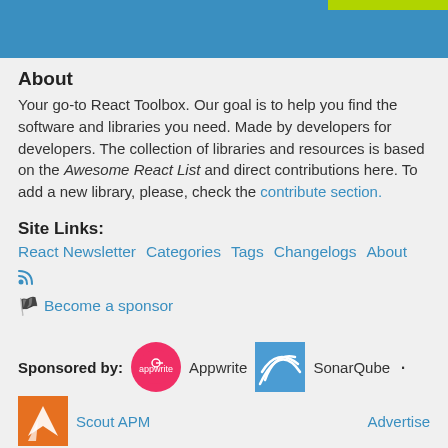[Figure (other): Blue header bar with green accent in top right corner]
About
Your go-to React Toolbox. Our goal is to help you find the software and libraries you need. Made by developers for developers. The collection of libraries and resources is based on the Awesome React List and direct contributions here. To add a new library, please, check the contribute section.
Site Links:
React Newsletter   Categories   Tags   Changelogs   About   [RSS icon]
[flag] Become a sponsor
Sponsored by: [Appwrite logo] Appwrite  [SonarQube logo] SonarQube  .
[ScoutAPM logo] Scout APM    Advertise